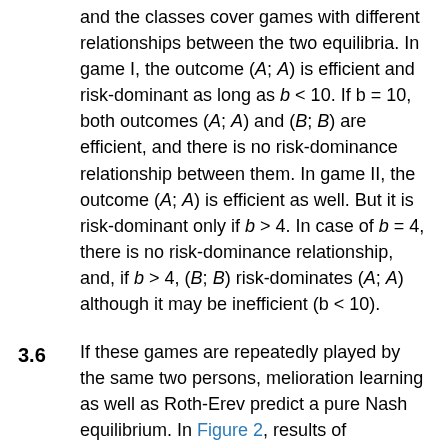and the classes cover games with different relationships between the two equilibria. In game I, the outcome (A; A) is efficient and risk-dominant as long as b < 10. If b = 10, both outcomes (A; A) and (B; B) are efficient, and there is no risk-dominance relationship between them. In game II, the outcome (A; A) is efficient as well. But it is risk-dominant only if b > 4. In case of b = 4, there is no risk-dominance relationship, and, if b > 4, (B; B) risk-dominates (A; A) although it may be inefficient (b < 10).
3.6  If these games are repeatedly played by the same two persons, melioration learning as well as Roth-Erev predict a pure Nash equilibrium. In Figure 2, results of simulations with 50.000 pairs of actors are shown ( ε = 0.1). Distributions over the four outcomes